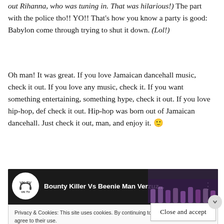out Rihanna, who was tuning in. That was hilarious!) The part with the police tho!! YO!! That's how you know a party is good: Babylon come through trying to shut it down. (Lol!)
Oh man! It was great. If you love Jamaican dancehall music, check it out. If you love any music, check it. If you want something entertaining, something hype, check it out. If you love hip-hop, def check it out. Hip-hop was born out of Jamaican dancehall. Just check it out, man, and enjoy it. 🙂
[Figure (screenshot): Embedded video thumbnail showing 'Bounty Killer Vs Beenie Man Verzuz...' with VKTV logo on dark background]
Privacy & Cookies: This site uses cookies. By continuing to use this website, you agree to their use. To find out more, including how to control cookies, see here: Cookie Policy